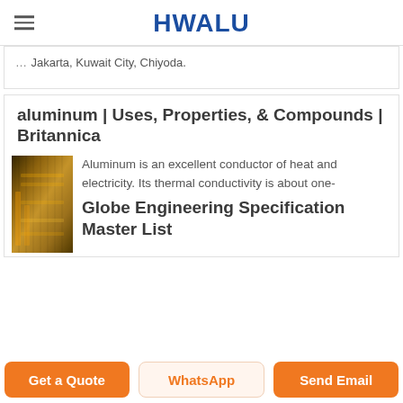HWALU
Jakarta, Kuwait City, Chiyoda.
aluminum | Uses, Properties, & Compounds | Britannica
[Figure (photo): Photo of aluminum manufacturing facility with industrial shelving and yellow equipment]
Aluminum is an excellent conductor of heat and electricity. Its thermal conductivity is about one-
Globe Engineering Specification Master List
Get a Quote | WhatsApp | Send Email